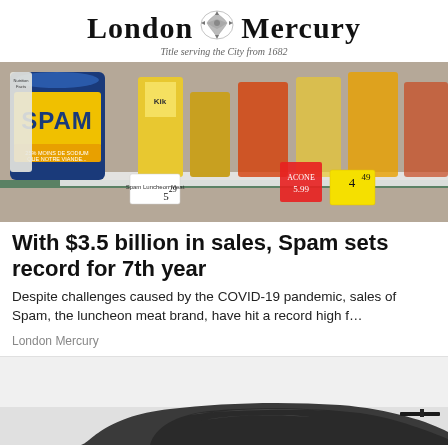London Mercury — Title serving the City from 1682
[Figure (photo): Photo of SPAM canned luncheon meat on a grocery store shelf with price tags visible]
With $3.5 billion in sales, Spam sets record for 7th year
Despite challenges caused by the COVID-19 pandemic, sales of Spam, the luncheon meat brand, have hit a record high f…
London Mercury
[Figure (photo): Partial photo of a dark sports car, showing the rear/side profile against a light background]